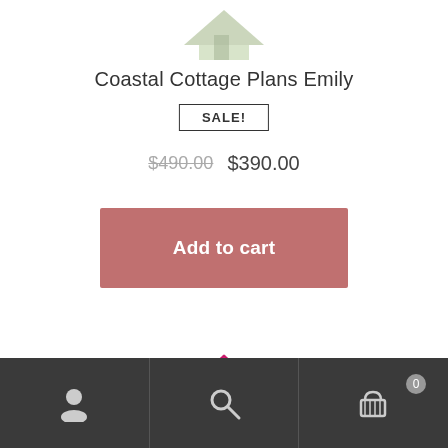[Figure (illustration): Partial view of a house plan product image at top of page, mostly cropped]
Coastal Cottage Plans Emily
SALE!
$490.00  $390.00
Add to cart
[Figure (illustration): Bright pink cottage/house model with chimney, partially visible at bottom of product listing]
Navigation bar with user account, search, and shopping cart (0 items) icons